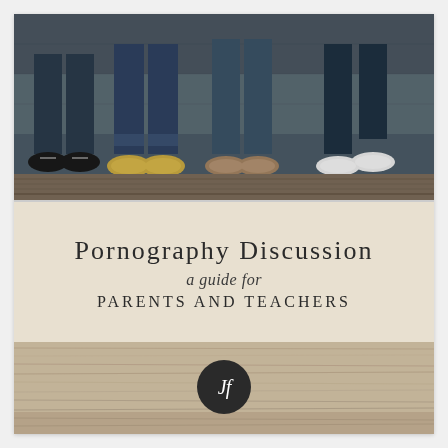[Figure (photo): Photo of teenagers sitting in a row on wooden steps, showing their legs and feet/shoes (sneakers visible: dark, gold/yellow, tan, and white shoes), wearing jeans and casual clothing.]
Pornography Discussion
a guide for
PARENTS AND TEACHERS
[Figure (logo): Dark circular logo with stylized white italic 'Jf' or 'JJf' monogram text inside.]